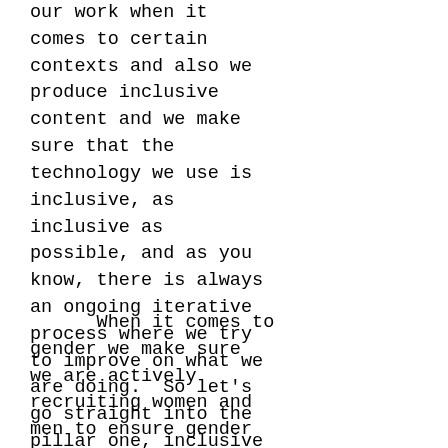our work when it comes to certain contexts and also we produce inclusive content and we make sure that the technology we use is inclusive, as inclusive as possible, and as you know, there is always an ongoing iterative process where we try to improve on what we are doing.  So let's go straight into the pillar one, inclusive teams.
When it comes to gender we make sure we are actively recruiting women and men to ensure gender